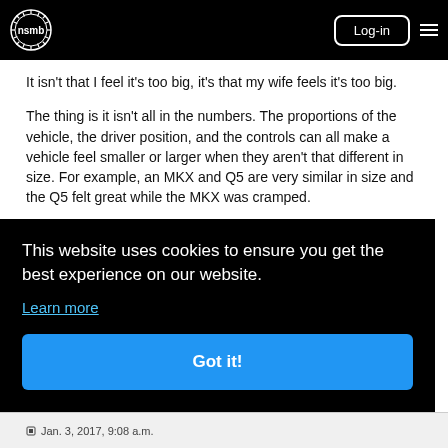nsmb Log-in [menu]
It isn't that I feel it's too big, it's that my wife feels it's too big.
The thing is it isn't all in the numbers. The proportions of the vehicle, the driver position, and the controls can all make a vehicle feel smaller or larger when they aren't that different in size. For example, an MKX and Q5 are very similar in size and the Q5 felt great while the MKX was cramped.
[partially obscured] our [partially obscured] n.
[Figure (screenshot): Cookie consent overlay with dark background. Text reads: 'This website uses cookies to ensure you get the best experience on our website.' with a 'Learn more' link and a blue 'Got it!' button.]
Jan. 3, 2017, 9:08 a.m.